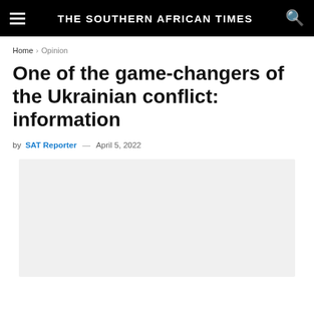THE SOUTHERN AFRICAN TIMES
Home > Opinion
One of the game-changers of the Ukrainian conflict: information
by SAT Reporter — April 5, 2022
[Figure (photo): Light grey placeholder image area for article photo]